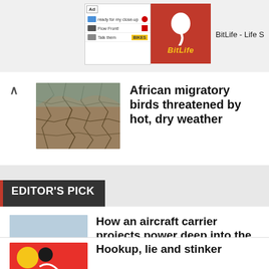[Figure (screenshot): Ad banner for BitLife - Life S game, showing a partial screenshot of an app interface and the BitLife logo on red background]
[Figure (photo): Cracked dry earth landscape representing drought conditions, related to African migratory birds story]
African migratory birds threatened by hot, dry weather
EDITOR'S PICK
[Figure (photo): Aircraft carrier at sea]
How an aircraft carrier projects power deep into the coast
[Figure (photo): Two women, Rasika Dugal and Shefali Shah, portraits]
Rasika Dugal, Shefali Shah on how their relationship evolves in Delhi Crime season 2
[Figure (illustration): Colorful illustration related to Hookup, lie and stinker article]
Hookup, lie and stinker